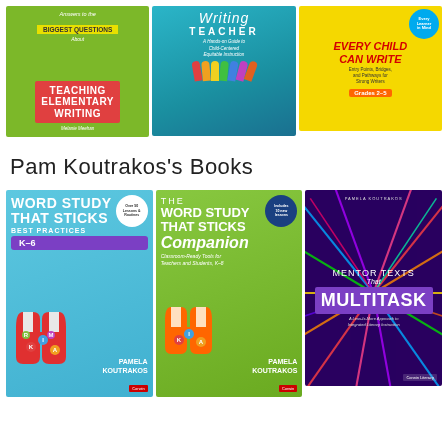[Figure (photo): Three book covers in a row: 'Answers to the Biggest Questions About Teaching Elementary Writing' (green cover), 'The Writing Teacher: A Hands-on Guide to Child-Centered Equitable Instruction' (teal cover with colorful hands), and 'Every Child Can Write: Entry Points, Bridges, and Pathways for Striving Writers, Grades 2-5' (yellow/colorful cover).]
Pam Koutrakos's Books
[Figure (photo): Three book covers in a row: 'Word Study That Sticks: Best Practices K-6' (light blue cover with magnet and letter tiles), 'The Word Study That Sticks Companion: Classroom-Ready Tools for Teachers and Students, K-8' (green cover), and 'Mentor Texts That Multitask: A Less-Is-More Approach to Integrated Literary Instruction' (dark purple cover with colorful rays).]